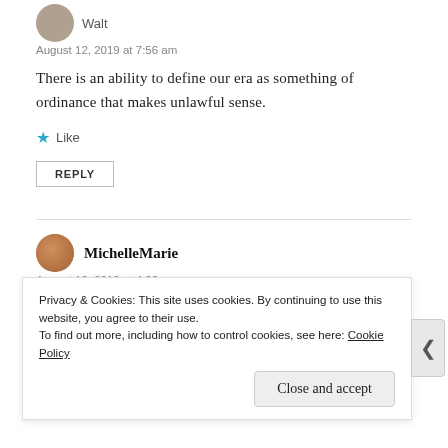August 12, 2019 at 7:56 am
There is an ability to define our era as something of ordinance that makes unlawful sense.
Like
REPLY
MichelleMarie
August 12, 2019 at 4:22 pm
Privacy & Cookies: This site uses cookies. By continuing to use this website, you agree to their use.
To find out more, including how to control cookies, see here: Cookie Policy
Close and accept